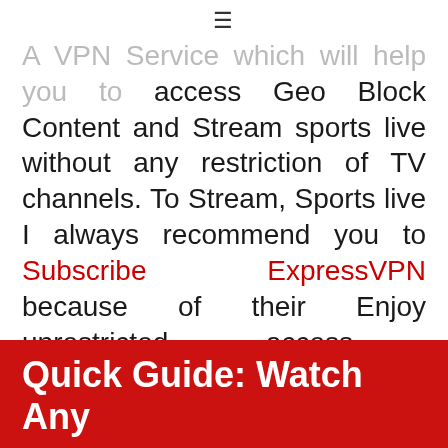[Figure (other): Hamburger menu icon (three horizontal lines)]
A VPN Service which will help you to access Geo Block Content and Stream sports live without any restriction of TV channels. To Stream, Sports live I always recommend you to Subscribe ExpressVPN because of their Enjoy unrestricted access worldwide features, Fast Server, Easy Setup on almost all device, 24/7 Hour customer support with live chat along with 30 days money back Guarantee.
Quick Guide: Watch Any